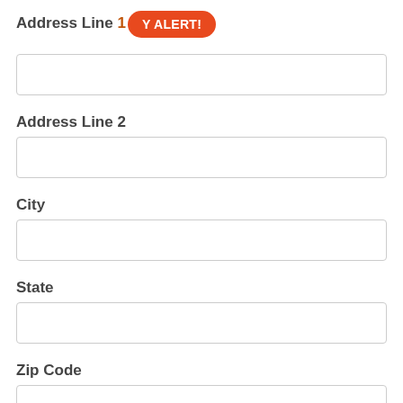Address Line 1
[Figure (other): Orange rounded alert badge with white bold text 'Y ALERT!']
Address Line 2
City
State
Zip Code
Telephone Number